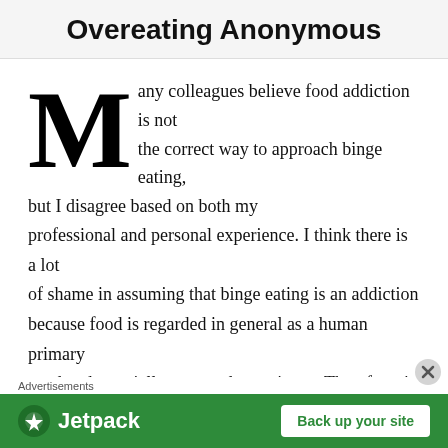Overeating Anonymous
Many colleagues believe food addiction is not the correct way to approach binge eating, but I disagree based on both my professional and personal experience. I think there is a lot of shame in assuming that binge eating is an addiction because food is regarded in general as a human primary need and a socially accepted experience. Therefore, it is hard for most people to grasp the idea that food can be
[Figure (other): Jetpack advertisement banner with 'Back up your site' button on green background]